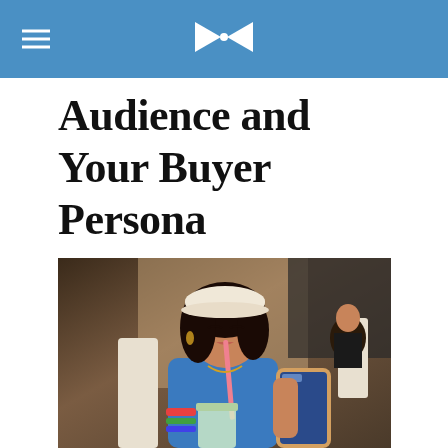Audience and Your Buyer Persona
[Figure (photo): Young woman with curly dark hair wearing a white baseball cap, sipping a drink through a pink straw while looking at her smartphone. She is wearing a blue top and colorful bracelets, seated at what appears to be a casual outdoor or beach bar setting.]